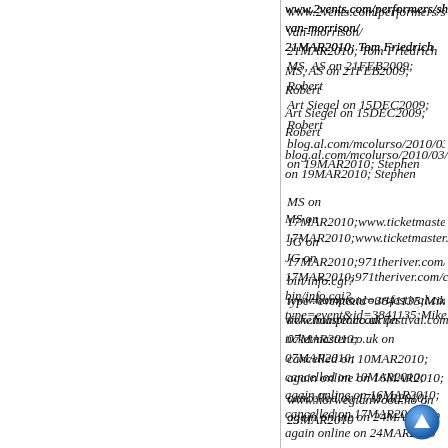www.2vents.com/performers/show/32142-van-morrison/ 21MAR2010; Tom Friedrich
MS, AS on 21FEB2009; Robert
Art Siegel on 15DEC2009; Robert
blog.al.com/mcolurso/2010/03/van_morrison_to_make_ on 19MAR2010; Stephen
MS on 17MAR2010;www.ticketmaster.com;Mike
JG on 17MAR2010;971theriver.com/cgi-bin/info.cgi?type=event&id=3841135;Mike
www.hamptoncourtfestival.com; ticketmaster.co.uk on 07MAR2010; cancelled on 10MAR2010; again online on 16MAR2010; cancelled on 17MAR2010; again online on 24MAR2010
www.norwegianwood.no on 23MAR2010
www.hopfarmfestival.com on 23APR2010
www.pollstar.com and www.brbf.be on 30APR2010
www.edmontonfolkfest.org